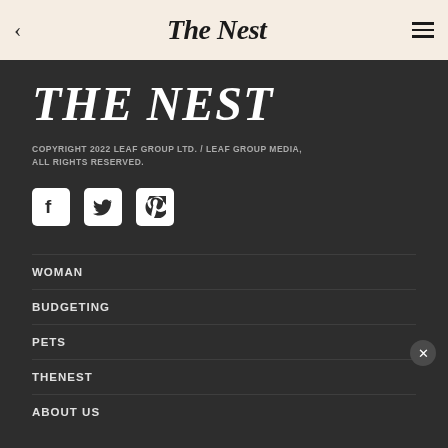< The Nest ≡
THE NEST
COPYRIGHT 2022 LEAF GROUP LTD. / LEAF GROUP MEDIA, ALL RIGHTS RESERVED.
[Figure (infographic): Social media icons: Facebook, Twitter, Pinterest in white rounded square boxes on dark background]
WOMAN
BUDGETING
PETS
THENEST
ABOUT US